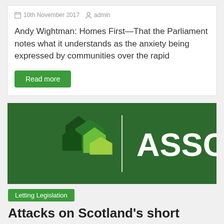10th November 2017   admin
Andy Wightman: Homes First—That the Parliament notes what it understands as the anxiety being expressed by communities over the rapid
Read more
[Figure (logo): ASSC (Association of Scotland's Self-Caterers) logo on dark green background with house icons]
Letting Legislation
Attacks on Scotland's short term letting are an insult to tourism
10th November 2017   admin